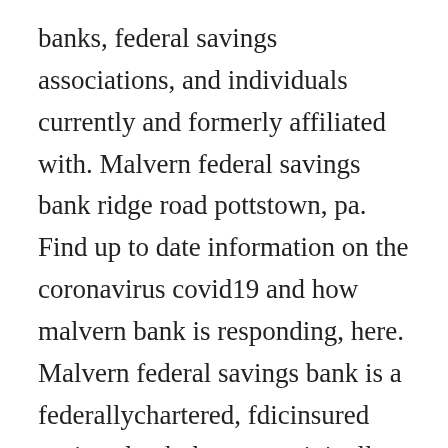banks, federal savings associations, and individuals currently and formerly affiliated with. Malvern federal savings bank ridge road pottstown, pa. Find up to date information on the coronavirus covid19 and how malvern bank is responding, here. Malvern federal savings bank is a federallychartered, fdicinsured savings bank that was originally organized in 1887 and now serves as one of the oldest banks headquartered on. Deposits in malvern federal savings bank are insured by fdic. Malvern federal savings bank in paoli, pa est bicin dlicati to 43 d t